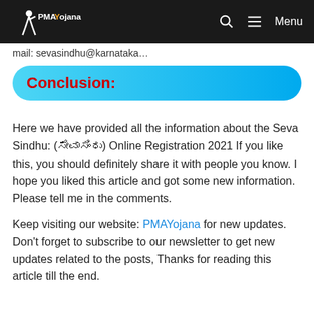PMAYojana — navigation bar with search icon and Menu
mail: sevasindhu@karnataka…
Conclusion:
Here we have provided all the information about the Seva Sindhu: (ಸೇವಾಸಿಂಧು) Online Registration 2021 If you like this, you should definitely share it with people you know. I hope you liked this article and got some new information. Please tell me in the comments.
Keep visiting our website: PMAYojana for new updates. Don't forget to subscribe to our newsletter to get new updates related to the posts, Thanks for reading this article till the end.